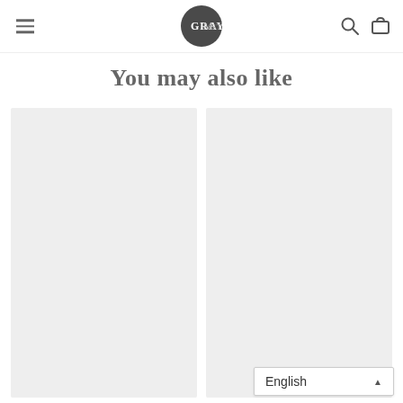GRAYMiST
You may also like
[Figure (photo): Left product image placeholder - light gray rectangle]
[Figure (photo): Right product image placeholder - light gray rectangle]
English